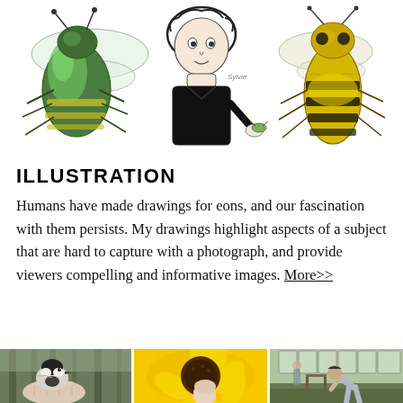[Figure (illustration): Three illustrations side by side: left - a green and yellow bee (metallic sweat bee), center - a cartoon/sketch of a person holding a small bee or insect, right - a detailed pen drawing of a honey bee (yellow and black)]
ILLUSTRATION
Humans have made drawings for eons, and our fascination with them persists. My drawings highlight aspects of a subject that are hard to capture with a photograph, and provide viewers compelling and informative images. More>>
[Figure (photo): Three photographs side by side: left - a chickadee bird being held in a person's hand in a forest, center - a close-up of a yellow black-eyed Susan flower with a finger/bee, right - a person bending over examining something in a greenhouse or indoor garden bed]